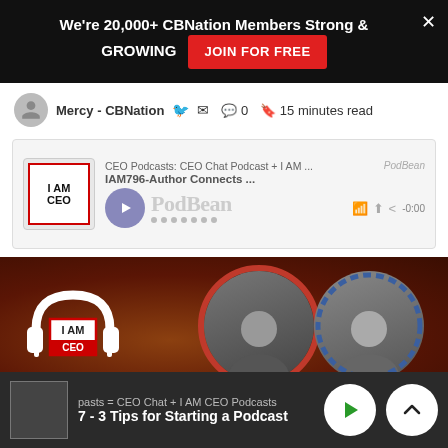We're 20,000+ CBNation Members Strong & GROWING  JOIN FOR FREE
Mercy - CBNation  🐦 ✉  💬 0  🔖 15 minutes read
[Figure (screenshot): PodBean podcast player embed showing I AM CEO logo, episode title 'CEO Podcasts: CEO Chat Podcast + I AM ...' and 'IAM796-Author Connects...' with play button and progress dots]
[Figure (photo): I AM CEO podcast hero banner with headphone logo on left, red-bordered circular photo of man with glasses, and blue dashed-border circular photo of smiling man]
pasts = CEO Chat + I AM CEO Podcasts  7 - 3 Tips for Starting a Podcast